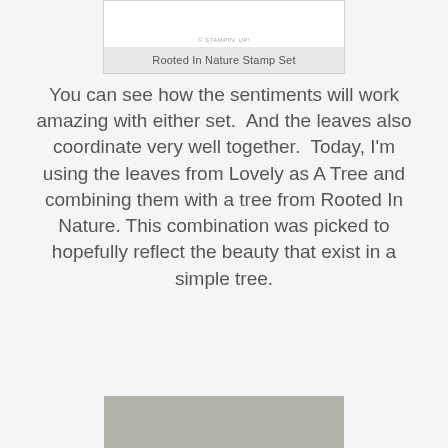[Figure (photo): Top portion of a stamp set product image with copyright mark for Stampin Up, showing partial stamp designs]
Rooted In Nature Stamp Set
You can see how the sentiments will work amazing with either set.  And the leaves also coordinate very well together.  Today, I'm using the leaves from Lovely as A Tree and combining them with a tree from Rooted In Nature. This combination was picked to hopefully reflect the beauty that exist in a simple tree.
[Figure (photo): Bottom portion showing a grey/beige textured background, likely a crafting project photo]